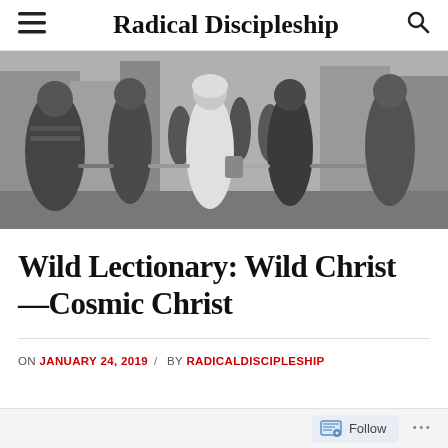Radical Discipleship
[Figure (photo): Black and white photograph of a group of Black women marching together holding hands, with urban buildings in the background. A woman in a white outfit and head wrap is prominent in the center.]
Wild Lectionary: Wild Christ—Cosmic Christ
ON JANUARY 24, 2019 / BY RADICALDISCIPLESHIP
Follow